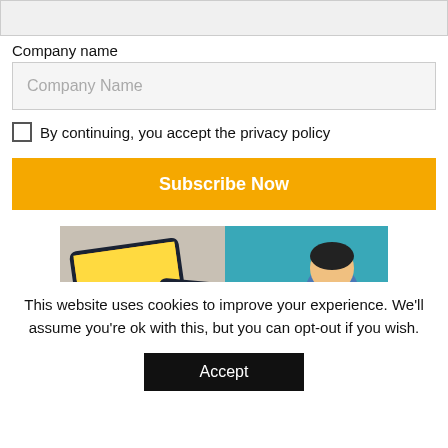[Figure (screenshot): Top input field area (grayed out, partially visible)]
Company name
[Figure (screenshot): Company Name input field with placeholder text]
By continuing, you accept the privacy policy
[Figure (screenshot): Subscribe Now orange button]
[Figure (photo): Photo of tablets and a nurse with a patient, with text 'Introducing the' overlaid at the bottom]
This website uses cookies to improve your experience. We'll assume you're ok with this, but you can opt-out if you wish.
[Figure (screenshot): Accept button (black)]